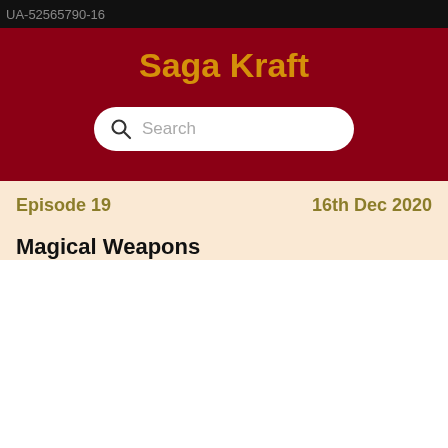UA-52565790-16
Saga Kraft
Search
Episode 19    16th Dec 2020
Magical Weapons